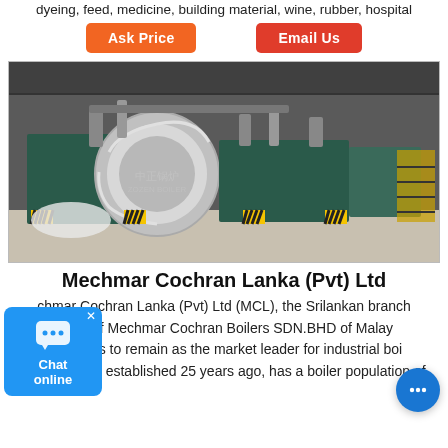dyeing, feed, medicine, building material, wine, rubber, hospital
Ask Price   Email Us
[Figure (photo): Industrial boiler equipment in a warehouse/factory setting. Large teal/dark green boiler with a large silver/metallic circular front piece, pipes, and yellow safety barriers on the floor.]
Mechmar Cochran Lanka (Pvt) Ltd
Mechmar Cochran Lanka (Pvt) Ltd (MCL), the Srilankan branch office of Mechmar Cochran Boilers SDN.BHD of Malay continues to remain as the market leader for industrial boi Lanka. MCL, established 25 years ago, has a boiler population of